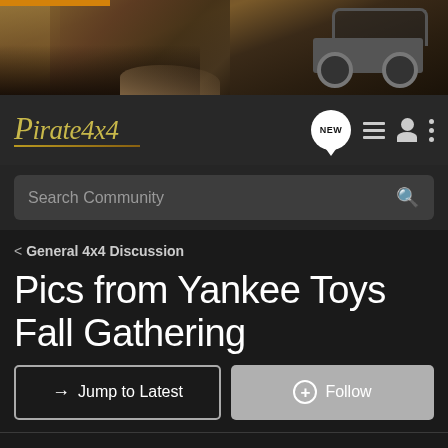[Figure (photo): Banner photo of an off-road vehicle (buggy/jeep) on rocky desert terrain with red/brown rock formations]
Pirate4x4
Search Community
< General 4x4 Discussion
Pics from Yankee Toys Fall Gathering
→ Jump to Latest
+ Follow
1 - 5 of 5 Posts